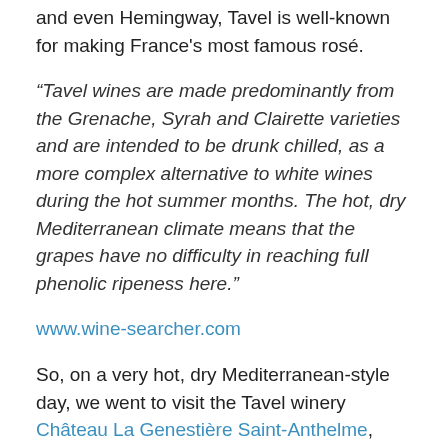and even Hemingway, Tavel is well-known for making France's most famous rosé.
“Tavel wines are made predominantly from the Grenache, Syrah and Clairette varieties and are intended to be drunk chilled, as a more complex alternative to white wines during the hot summer months. The hot, dry Mediterranean climate means that the grapes have no difficulty in reaching full phenolic ripeness here.”
www.wine-searcher.com
So, on a very hot, dry Mediterranean-style day, we went to visit the Tavel winery Château La Genestière Saint-Anthelme, which had originally been a silk farm on a beautiful plot of grape-growing gorgeousness. We toured the wine-making facilities, seeing where the grapes came